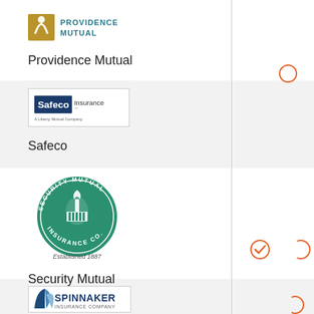[Figure (logo): Providence Mutual logo - orange/gold figure icon with 'PROVIDENCE MUTUAL' text in teal/blue]
Providence Mutual
[Figure (logo): Safeco Insurance - A Liberty Mutual Company logo in a bordered box]
Safeco
[Figure (logo): Security Mutual Insurance Co. circular green logo with torch figure, Established 1887]
Security Mutual
[Figure (logo): Spinnaker Insurance Company logo with blue sail graphic]